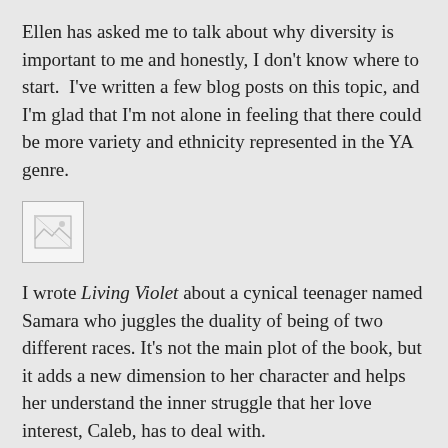Ellen has asked me to talk about why diversity is important to me and honestly, I don't know where to start.  I've written a few blog posts on this topic, and I'm glad that I'm not alone in feeling that there could be more variety and ethnicity represented in the YA genre.
[Figure (photo): Broken/missing image placeholder icon]
I wrote Living Violet about a cynical teenager named Samara who juggles the duality of being of two different races. It's not the main plot of the book, but it adds a new dimension to her character and helps her understand the inner struggle that her love interest, Caleb, has to deal with.
Growing up, I used to read teen books and watch teen shows and wondered why there weren't any Hispanic, Asian or black characters. There were never any black super heroes, or shy Mexican girl that gets asked to the big dance. There was no (vampires/were-animal/fallen angel/ insert supernatural creature here) fighting for the love of a poor Indian girl. I was under the impression that girls like me were the helpful sidekick with little character off to the side of a main storyline.